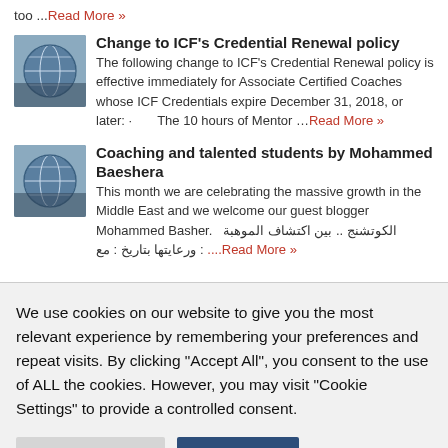too ...Read More »
[Figure (illustration): Globe icon thumbnail for article]
Change to ICF's Credential Renewal policy
The following change to ICF's Credential Renewal policy is effective immediately for Associate Certified Coaches whose ICF Credentials expire December 31, 2018, or later: · The 10 hours of Mentor …Read More »
[Figure (illustration): Globe icon thumbnail for article]
Coaching and talented students by Mohammed Baeshera
This month we are celebrating the massive growth in the Middle East and we welcome our guest blogger Mohammed Basher. الكوتشنج .. بين اكتشاف الموهبة ورعايتها بتاريخ : مع ....Read More »
We use cookies on our website to give you the most relevant experience by remembering your preferences and repeat visits. By clicking "Accept All", you consent to the use of ALL the cookies. However, you may visit "Cookie Settings" to provide a controlled consent.